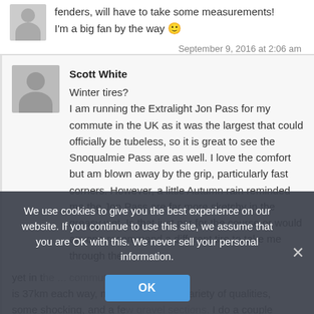fenders, will have to take some measurements! I'm a big fan by the way 🙂
September 9, 2016 at 2:06 am
Scott White
Winter tires? I am running the Extralight Jon Pass for my commute in the UK as it was the largest that could officially be tubeless, so it is great to see the Snoqualmie Pass are as well. I love the comfort but am blown away by the grip, particularly fast corners. However, a little Autumn rain reminded me the Jon Pass are far more sketchy in the greasy wet. Is that just par for the course or would anyone recommend a different tire to take me through the yet in ... commute is 37km each way, mostly roads of a variety of qualities, some shocking, and a few gravel sections. I do a couple of days a week
We use cookies to give you the best experience on our website. If you continue to use this site, we assume that you are OK with this. We never sell your personal information.